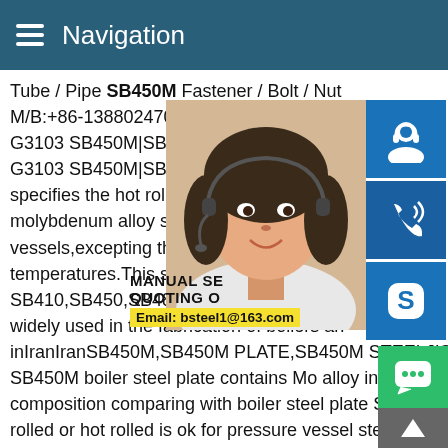Navigation
Tube / Pipe SB450M Fastener / Bolt / Nut M/B:+86-13880247006 E-mail: [email protected] G3103 SB450M|SB450M|SB 450M STEE G3103 SB450M|SB450M|SB 450M STEE specifies the hot rolled steel plates of carbon molybdenum alloy steel to be used for boiler vessels,excepting those to be used at room temperatures.This standard covers steel SB410,SB450,SB480,SB450M and SB480 widely used in the fabrication of boilers and pressure vessels inIranIranSB450M,SB450M PLATE,SB450M STEELJIS G3103 SB450M boiler steel plate contains Mo alloy in chemical composition comparing with boiler steel plate SB450.Normally rolled or hot rolled is ok for pressure vessel steel plate SB450M,of course,Normalized delivery condition would be better way for the boiler steel plates SB450M.Ultrasonic test shall be done for boiler
[Figure (photo): Customer service representative woman with headset smiling]
[Figure (infographic): Blue icon buttons for customer service, phone/call, and Skype on right side panel. Green chat button and dark arrow-up button at bottom right. Manual SE, Quoting O overlay text, Email: bsteel1@163.com label on yellow background.]